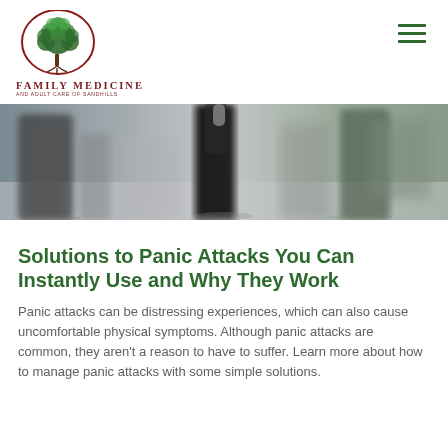[Figure (logo): Family Medicine and Adult Care of Sandhills logo with tree illustration in dark red/maroon circle]
[Figure (photo): Blurred motion photo of people walking, showing legs and lower bodies in movement]
Solutions to Panic Attacks You Can Instantly Use and Why They Work
Panic attacks can be distressing experiences, which can also cause uncomfortable physical symptoms. Although panic attacks are common, they aren't a reason to have to suffer. Learn more about how to manage panic attacks with some simple solutions.